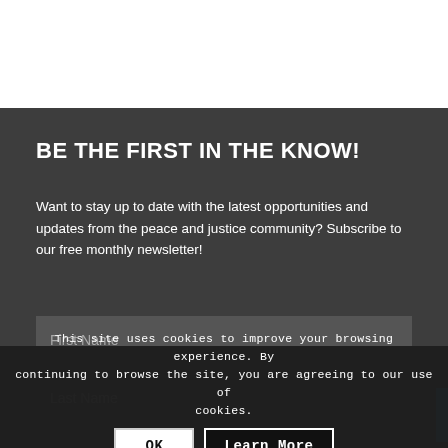BE THE FIRST IN THE KNOW!
Want to stay up to date with the latest opportunities and updates from the peace and justice community? Subscribe to our free monthly newsletter!
First Name
Last Name
This site uses cookies to improve your browsing experience. By continuing to browse the site, you are agreeing to our use of cookies.
OK
Learn More
Email Address
Organization